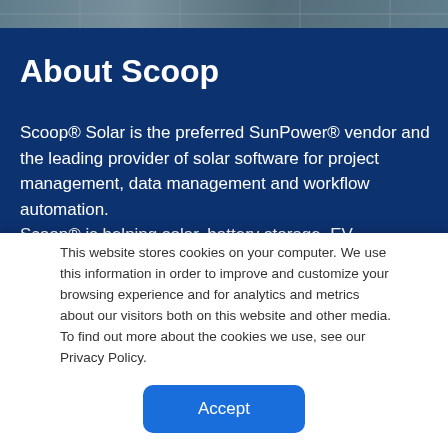[Figure (photo): Partial view of solar panels and a person, cropped at the top of the page]
About Scoop
Scoop® Solar is the preferred SunPower® vendor and the leading provider of solar software for project management, data management and workflow automation.
Scoop® is helping solar, battery storage, EV infrastructure companies of all sizes execute thousands of projects & maintenance tasks, connect their software tools, increase efficiency and their capacity for growth
This website stores cookies on your computer. We use this information in order to improve and customize your browsing experience and for analytics and metrics about our visitors both on this website and other media. To find out more about the cookies we use, see our Privacy Policy.
Accept